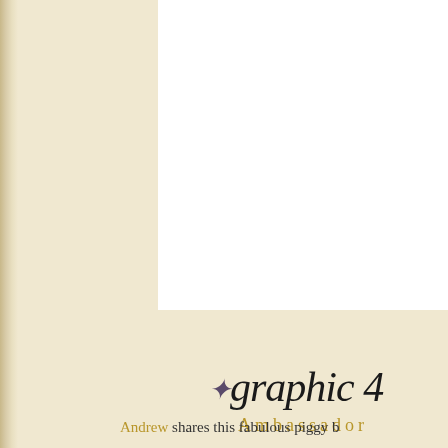[Figure (logo): Graphic 45 Ambassador logo — decorative script text 'graphic 45' with a small flourish/swirl ornament, and 'Ambassador' in spaced gold/tan serif capitals below]
Andrew shares this fabulous piggy b